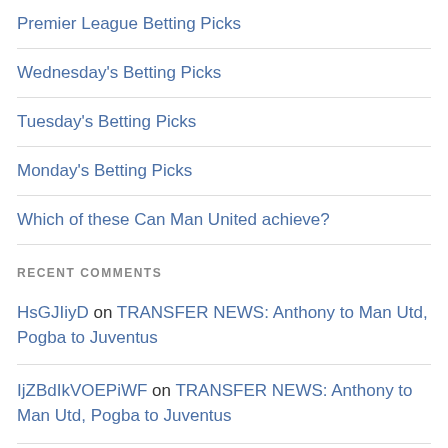Premier League Betting Picks
Wednesday's Betting Picks
Tuesday's Betting Picks
Monday's Betting Picks
Which of these Can Man United achieve?
RECENT COMMENTS
HsGJIiyD on TRANSFER NEWS: Anthony to Man Utd, Pogba to Juventus
IjZBdIkVOEPiWF on TRANSFER NEWS: Anthony to Man Utd, Pogba to Juventus